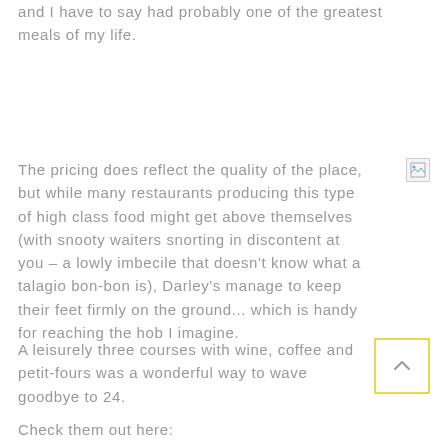and I have to say had probably one of the greatest meals of my life.
The pricing does reflect the quality of the place, but while many restaurants producing this type of high class food might get above themselves (with snooty waiters snorting in discontent at you – a lowly imbecile that doesn't know what a talagio bon-bon is), Darley's manage to keep their feet firmly on the ground... which is handy for reaching the hob I imagine.
A leisurely three courses with wine, coffee and petit-fours was a wonderful way to wave goodbye to 24.
Check them out here: